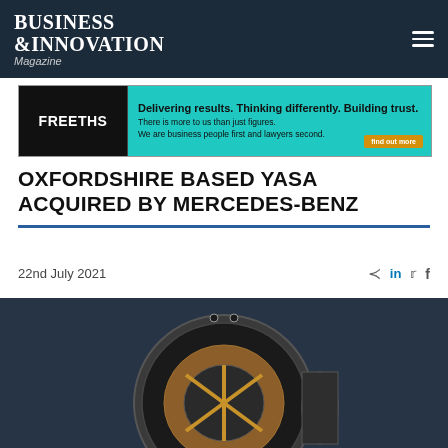BUSINESS & INNOVATION Magazine
[Figure (photo): Freeths law firm advertisement banner: black left panel with FREETHS logo, teal right panel with text 'Delivering results. Thinking differently. Building trust. There is more to us than just figures. We are business people first and lawyers second.' with a yellow call-to-action button]
OXFORDSHIRE BASED YASA ACQUIRED BY MERCEDES-BENZ
22nd July 2021
[Figure (photo): Close-up photograph of a YASA electric motor showing its distinctive disc/axial-flux design with copper windings and metallic components visible against a dark background]